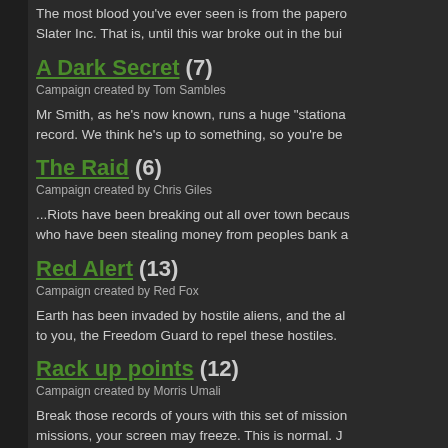The most blood you've ever seen is from the papero Slater Inc. That is, until this war broke out in the bui
A Dark Secret (7)
Campaign created by Tom Sambles
Mr Smith, as he's now known, runs a huge "stationa record. We think he's up to something, so you're be
The Raid (6)
Campaign created by Chris Giles
...Riots have been breaking out all over town becaus who have been stealing money from peoples bank a
Red Alert (13)
Campaign created by Red Fox
Earth has been invaded by hostile aliens, and the al to you, the Freedom Guard to repel these hostiles.
Rack up points (12)
Campaign created by Morris Umali
Break those records of yours with this set of mission missions, your screen may freeze. This is normal. J
More Phunkt Upp (9)